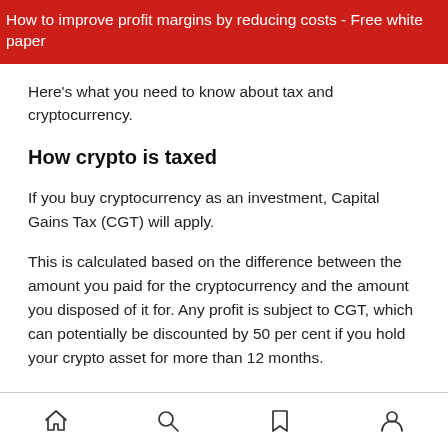How to improve profit margins by reducing costs - Free white paper
Here's what you need to know about tax and cryptocurrency.
How crypto is taxed
If you buy cryptocurrency as an investment, Capital Gains Tax (CGT) will apply.
This is calculated based on the difference between the amount you paid for the cryptocurrency and the amount you disposed of it for. Any profit is subject to CGT, which can potentially be discounted by 50 per cent if you hold your crypto asset for more than 12 months.
Navigation icons: home, search, bookmark, profile